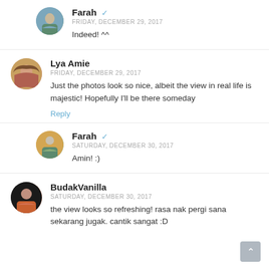[Figure (photo): Circular avatar of Farah (top comment, indented)]
Farah ✓
FRIDAY, DECEMBER 29, 2017
Indeed! ^^
[Figure (photo): Circular avatar of Lya Amie]
Lya Amie
FRIDAY, DECEMBER 29, 2017
Just the photos look so nice, albeit the view in real life is majestic! Hopefully I'll be there someday
Reply
[Figure (photo): Circular avatar of Farah (second reply, indented)]
Farah ✓
SATURDAY, DECEMBER 30, 2017
Amin! :)
[Figure (photo): Circular avatar of BudakVanilla]
BudakVanilla
SATURDAY, DECEMBER 30, 2017
the view looks so refreshing! rasa nak pergi sana sekarang jugak. cantik sangat :D